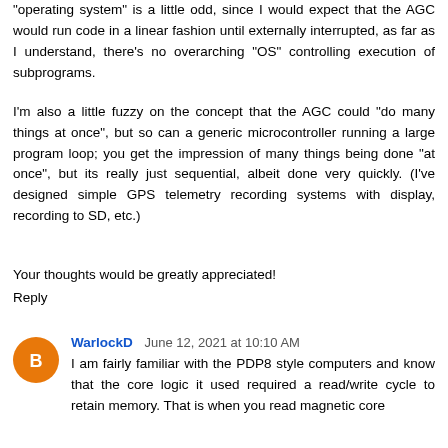"operating system" is a little odd, since I would expect that the AGC would run code in a linear fashion until externally interrupted, as far as I understand, there's no overarching "OS" controlling execution of subprograms.
I'm also a little fuzzy on the concept that the AGC could "do many things at once", but so can a generic microcontroller running a large program loop; you get the impression of many things being done "at once", but its really just sequential, albeit done very quickly. (I've designed simple GPS telemetry recording systems with display, recording to SD, etc.)
Your thoughts would be greatly appreciated!
Reply
WarlockD  June 12, 2021 at 10:10 AM
I am fairly familiar with the PDP8 style computers and know that the core logic it used required a read/write cycle to retain memory. That is when you read magnetic core